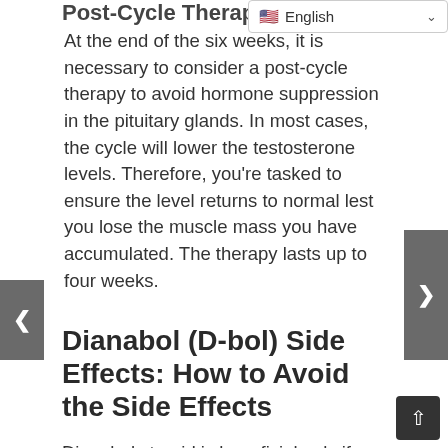Post-Cycle Therapy
At the end of the six weeks, it is necessary to consider a post-cycle therapy to avoid hormone suppression in the pituitary glands. In most cases, the cycle will lower the testosterone levels. Therefore, you’re tasked to ensure the level returns to normal lest you lose the muscle mass you have accumulated. The therapy lasts up to four weeks.
Dianabol (D-bol) Side Effects: How to Avoid the Side Effects
Dianabol steroid is beneficial only if you use it wisely while considering the precautions and the risks involved. The more you increase the dose, the higher the likelihood of experiencing severe side effects.